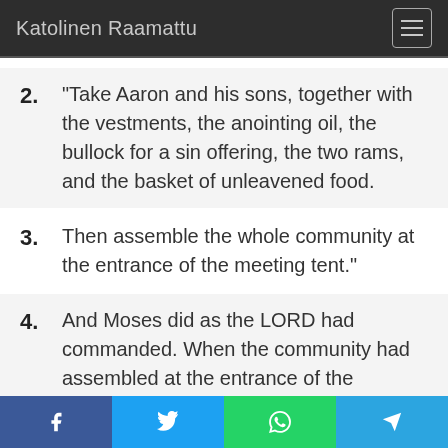Katolinen Raamattu
2. "Take Aaron and his sons, together with the vestments, the anointing oil, the bullock for a sin offering, the two rams, and the basket of unleavened food.
3. Then assemble the whole community at the entrance of the meeting tent."
4. And Moses did as the LORD had commanded. When the community had assembled at the entrance of the
Facebook | Twitter | WhatsApp | Telegram